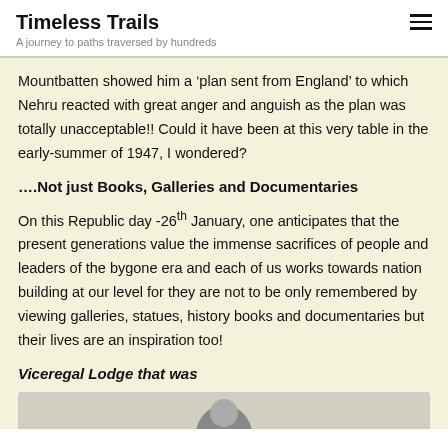Timeless Trails
A journey to paths traversed by hundreds
Mountbatten showed him a ‘plan sent from England’ to which Nehru reacted with great anger and anguish as the plan was totally unacceptable!! Could it have been at this very table in the early-summer of 1947, I wondered?
....Not just Books, Galleries and Documentaries
On this Republic day -26th January, one anticipates that the present generations value the immense sacrifices of people and leaders of the bygone era and each of us works towards nation building at our level for they are not to be only remembered by viewing galleries, statues, history books and documentaries but their lives are an inspiration too!
Viceregal Lodge that was
[Figure (photo): Partial photo visible at bottom of page]